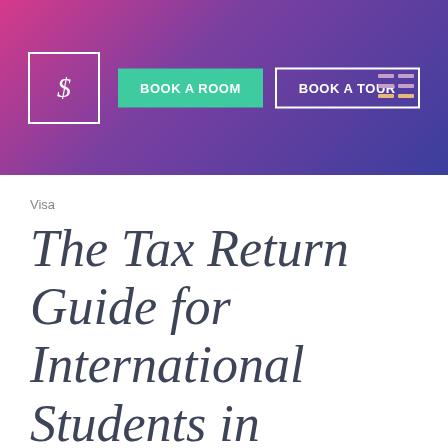[Figure (screenshot): Website header with gradient background (pink to purple to dark blue), logo with letter S in a square frame, 'BOOK A ROOM' green button, 'BOOK A TOUR' outlined button, and hamburger menu icon on the right.]
Visa
The Tax Return Guide for International Students in Australia: How To